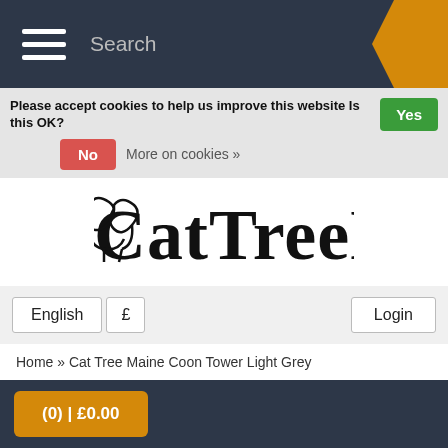Search
Please accept cookies to help us improve this website Is this OK? Yes No More on cookies »
[Figure (logo): CatTreeKing logo with decorative serif lettering and swirl motif]
English £ Login
Home » Cat Tree Maine Coon Tower Light Grey
[Figure (photo): Cat tree tower with light grey rope-wrapped post and small platform, photographed against grey background]
(0) | £0.00